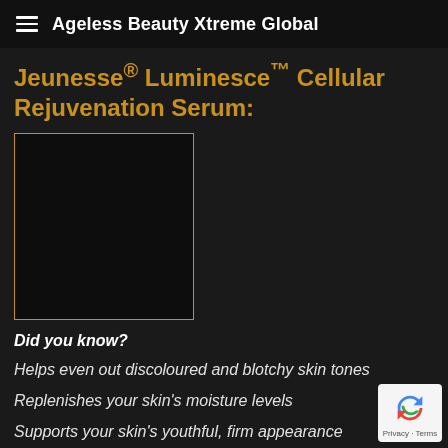Ageless Beauty Xtreme Global
Jeunesse® Luminesce™ Cellular Rejuvenation Serum:
[Figure (photo): Product image placeholder — dark square with gold border showing Luminesce Cellular Rejuvenation Serum product]
Did you know?
Helps even out discoloured and blotchy skin tones
Replenishes your skin's moisture levels
Supports your skin's youthful, firm appearance